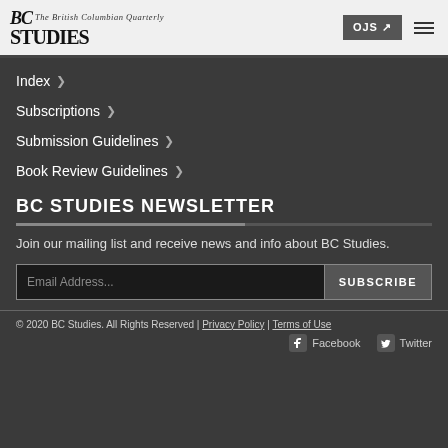BC STUDIES The British Columbian Quarterly | OJS | Menu
Index
Subscriptions
Submission Guidelines
Book Review Guidelines
BC STUDIES NEWSLETTER
Join our mailing list and receive news and info about BC Studies.
Email Address... SUBSCRIBE
© 2020 BC Studies. All Rights Reserved | Privacy Policy | Terms of Use | Facebook | Twitter